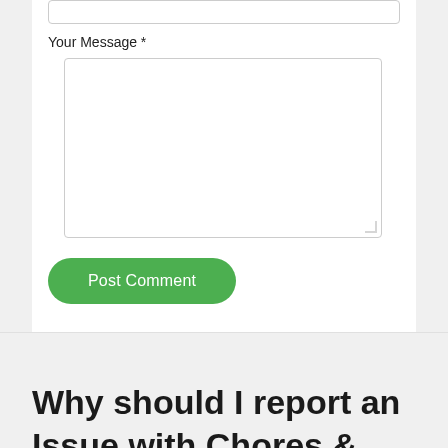Your Message *
[Figure (screenshot): A large empty textarea input box for entering a message, with a resize handle in the bottom-right corner]
Post Comment
Why should I report an Issue with Chores & Allowance Bot?